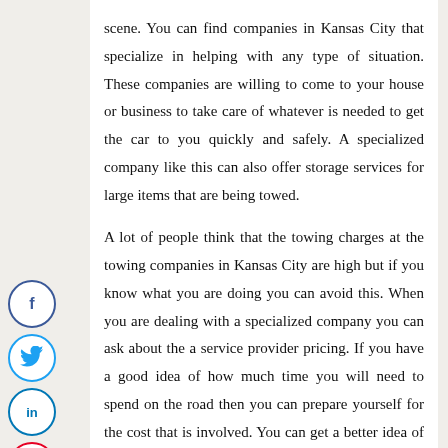scene. You can find companies in Kansas City that specialize in helping with any type of situation. These companies are willing to come to your house or business to take care of whatever is needed to get the car to you quickly and safely. A specialized company like this can also offer storage services for large items that are being towed.

A lot of people think that the towing charges at the towing companies in Kansas City are high but if you know what you are doing you can avoid this. When you are dealing with a specialized company you can ask about the a service provider pricing. If you have a good idea of how much time you will need to spend on the road then you can prepare yourself for the cost that is involved. You can get a better idea of the prices for different companies by
[Figure (infographic): Vertical social sharing bar with Facebook, Twitter, LinkedIn, and Pinterest circular icon buttons on the left side of the page.]